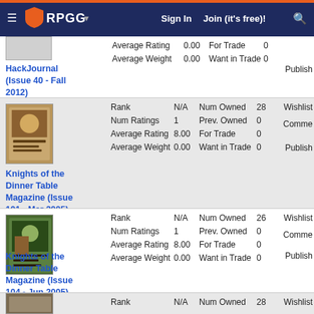RPGG | Sign In | Join (it's free)!
HackJournal (Issue 40 - Fall 2012) | Average Rating 0.00 | For Trade 0 | Average Weight 0.00 | Want in Trade 0 | Publish...
Knights of the Dinner Table Magazine (Issue 101 - Mar 2005) | Rank N/A | Num Owned 28 | Num Ratings 1 | Prev. Owned 0 | Average Rating 8.00 | For Trade 0 | Average Weight 0.00 | Want in Trade 0 | Wishlist... | Comments... | Publish...
Knights of the Dinner Table Magazine (Issue 104 - Jun 2005) | Rank N/A | Num Owned 26 | Num Ratings 1 | Prev. Owned 0 | Average Rating 8.00 | For Trade 0 | Average Weight 0.00 | Want in Trade 0 | Wishlist... | Comments... | Publish...
Rank N/A | Num Owned 28 | Wishlist...